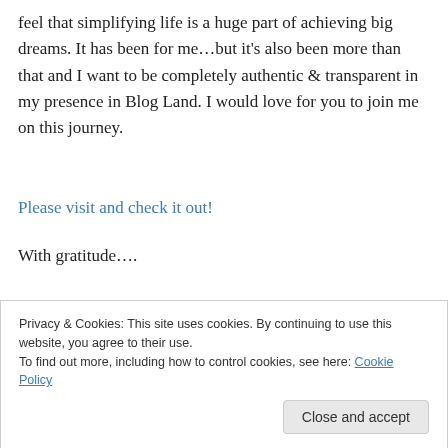feel that simplifying life is a huge part of achieving big dreams. It has been for me…but it's also been more than that and I want to be completely authentic & transparent in my presence in Blog Land. I would love for you to join me on this journey.
Please visit and check it out!
With gratitude….
[Figure (illustration): Cursive handwritten script signature reading 'Ciao for now~']
Privacy & Cookies: This site uses cookies. By continuing to use this website, you agree to their use.
To find out more, including how to control cookies, see here: Cookie Policy
Close and accept